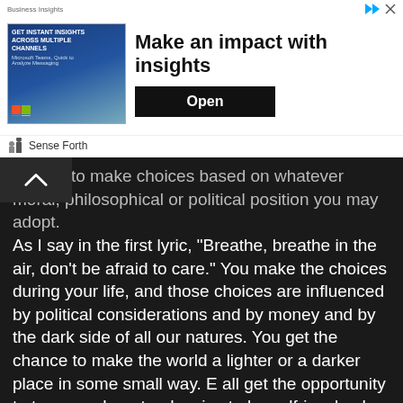[Figure (screenshot): Advertisement banner: 'Make an impact with insights' with an image showing a woman and Microsoft product logos, and an 'Open' button. Footer shows 'Sense Forth' branding.]
...i've got to make choices based on whatever moral, philosophical or political position you may adopt.
As I say in the first lyric, “Breathe, breathe in the air, don’t be afraid to care.” You make the choices during your life, and those choices are influenced by political considerations and by money and by the dark side of all our natures. You get the chance to make the world a lighter or a darker place in some small way. E all get the opportunity to transcend our tendencies to be self-involved and mean and greedy. We all make a small mark on the great painting of life.
If Dark Side Of The Moon is anything, it’s an exhortation to join the flow of the river of natural history in a way that’s positive, and to embrace the positive and reject the negative, given that one might be able to identify with the things which seem to be a matter of great confusion to a lot of people.
[Quoting from “Breathe Reprise”] “Far away, across the field, the